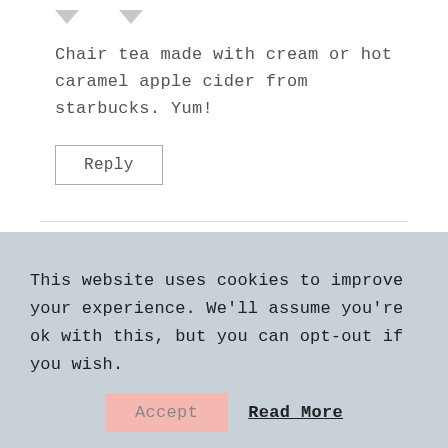Chair tea made with cream or hot caramel apple cider from starbucks. Yum!
Reply
Kim says: December 11, 2010 at 3:09 pm
My most favorite winter drink is the hot cup of coffee
This website uses cookies to improve your experience. We'll assume you're ok with this, but you can opt-out if you wish.
Accept
Read More